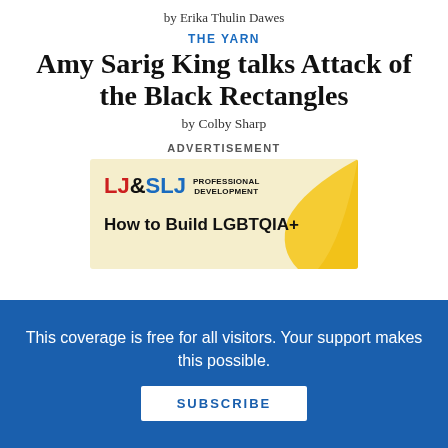by Erika Thulin Dawes
THE YARN
Amy Sarig King talks Attack of the Black Rectangles
by Colby Sharp
ADVERTISEMENT
[Figure (infographic): LJ&SLJ Professional Development advertisement banner with yellow curve graphic and text 'How to Build LGBTQIA+' partially visible]
This coverage is free for all visitors. Your support makes this possible.
SUBSCRIBE